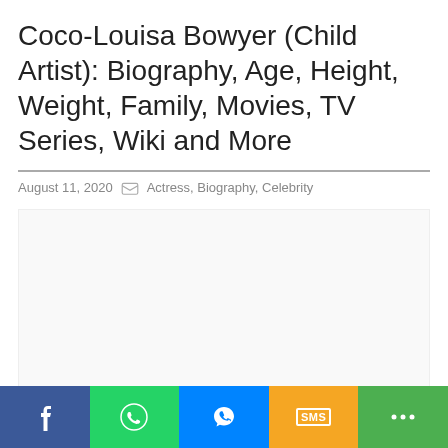Coco-Louisa Bowyer (Child Artist): Biography, Age, Height, Weight, Family, Movies, TV Series, Wiki and More
August 11, 2020  Actress, Biography, Celebrity
[Figure (other): Advertisement / blank space area]
Coco-Louisa Bowyer (Child Artist): Biography, Age, Height, Weight, Family, Movies, TV Series, Wiki and More
Share buttons: Facebook, WhatsApp, Messenger, SMS, Share